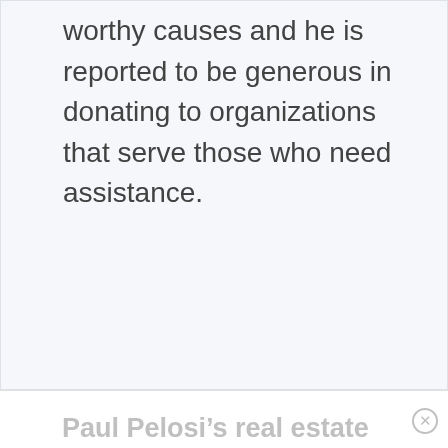worthy causes and he is reported to be generous in donating to organizations that serve those who need assistance.
Paul Pelosi’s real estate